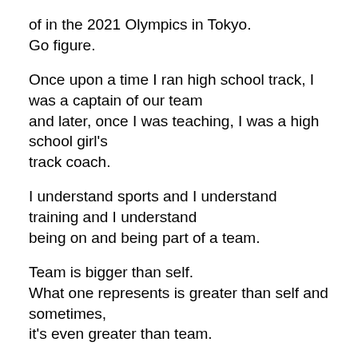of in the 2021 Olympics in Tokyo.
Go figure.
Once upon a time I ran high school track, I was a captain of our team and later, once I was teaching, I was a high school girl's track coach.
I understand sports and I understand training and I understand being on and being part of a team.
Team is bigger than self.
What one represents is greater than self and sometimes, it's even greater than team.
Self is all about just that, self.
It's a 'look at me' mentality.